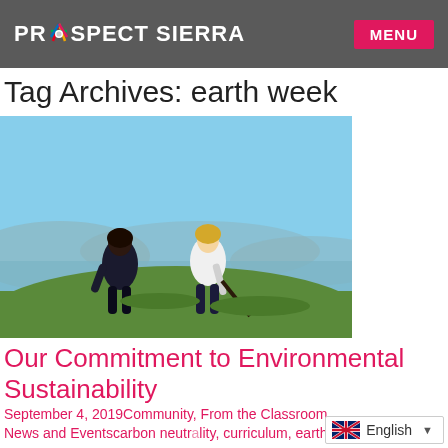PROSPECT SIERRA | MENU
Tag Archives: earth week
[Figure (photo): Two people bending over to plant or tend to vegetation on a hillside with a scenic bay and mountain view in the background under a blue sky.]
Our Commitment to Environmental Sustainability
September 4, 2019Community, From the Classroom, News and Eventscarbon neutrality, curriculum, earth week, coalit…
English ▼